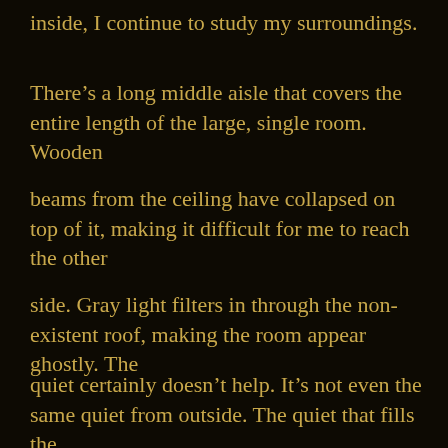inside, I continue to study my surroundings.
There’s a long middle aisle that covers the entire length of the large, single room. Wooden
beams from the ceiling have collapsed on top of it, making it difficult for me to reach the other
side. Gray light filters in through the non-existent roof, making the room appear ghostly. The
quiet certainly doesn’t help. It’s not even the same quiet from outside. The quiet that fills the